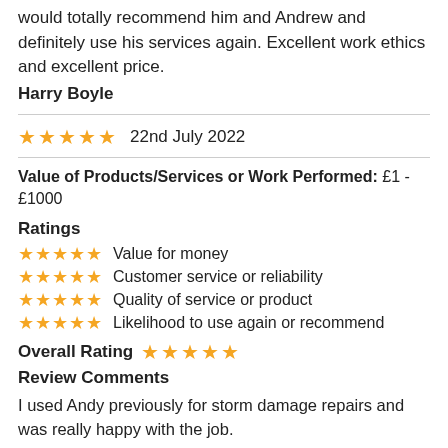would totally recommend him and Andrew and definitely use his services again. Excellent work ethics and excellent price.
Harry Boyle
★★★★★  22nd July 2022
Value of Products/Services or Work Performed: £1 - £1000
Ratings
★★★★★  Value for money
★★★★★  Customer service or reliability
★★★★★  Quality of service or product
★★★★★  Likelihood to use again or recommend
Overall Rating ★★★★★
Review Comments
I used Andy previously for storm damage repairs and was really happy with the job.
Asked him if he could supply and fit a new shower tap as